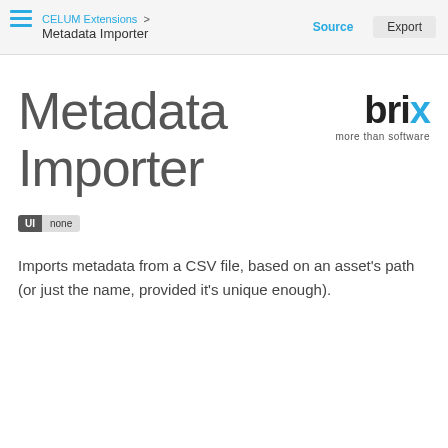CELUM Extensions > Metadata Importer | Source | Export
Metadata Importer
[Figure (logo): brix logo with text 'more than software']
UI  none
Imports metadata from a CSV file, based on an asset's path (or just the name, provided it's unique enough).